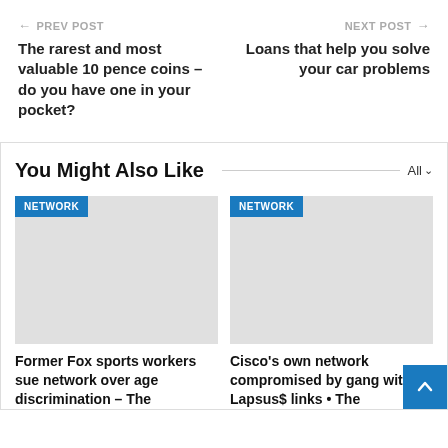← PREV POST | NEXT POST →
The rarest and most valuable 10 pence coins – do you have one in your pocket?
Loans that help you solve your car problems
You Might Also Like
[Figure (photo): Card image placeholder with NETWORK badge]
Former Fox sports workers sue network over age discrimination – The
[Figure (photo): Card image placeholder with NETWORK badge]
Cisco's own network compromised by gang with Lapsus$ links • The